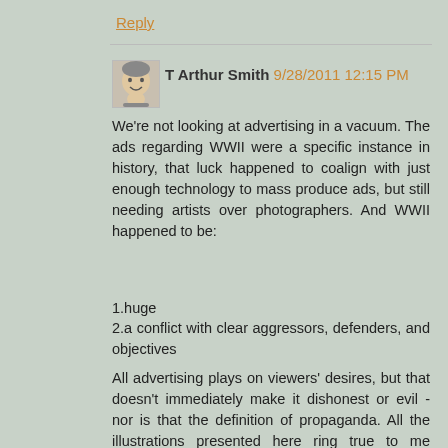Reply
T Arthur Smith 9/28/2011 12:15 PM
We're not looking at advertising in a vacuum. The ads regarding WWII were a specific instance in history, that luck happened to coalign with just enough technology to mass produce ads, but still needing artists over photographers. And WWII happened to be:
1.huge
2.a conflict with clear aggressors, defenders, and objectives
All advertising plays on viewers' desires, but that doesn't immediately make it dishonest or evil - nor is that the definition of propaganda. All the illustrations presented here ring true to me (possibly not the Huns comparison, but in general), and it's humanity's natural state to be dissatisfied and greedy. It's an evolutionary advantage for us to want new things (up until we use up all our resources and society collapses).